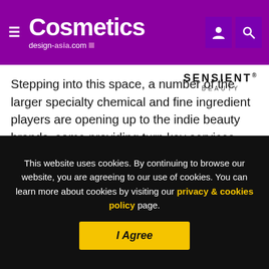Cosmetics design-asia.com
[Figure (logo): SENSIENT BEAUTY logo]
Stepping into this space, a number of the larger specialty chemical and fine ingredient players are opening up to the indie beauty brands, some providing turn key services, and some even launching brands of their own.
These formulation players are providing services that are specifically catering to indie beauty manufacturers, providing them with the lower volume batch orders that have
This website uses cookies. By continuing to browse our website, you are agreeing to our use of cookies. You can learn more about cookies by visiting our privacy & cookies policy page.